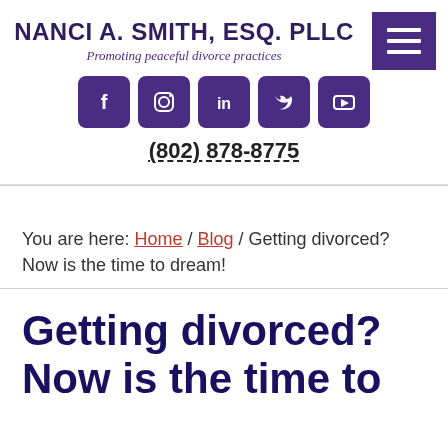[Figure (screenshot): Purple hamburger menu button with three white horizontal lines, positioned top-right]
NANCI A. SMITH, ESQ. PLLC
Promoting peaceful divorce practices
[Figure (infographic): Row of 5 purple social media icons: Facebook, Instagram, LinkedIn, Twitter, YouTube]
(802) 878-8775
You are here: Home / Blog / Getting divorced? Now is the time to dream!
Getting divorced? Now is the time to